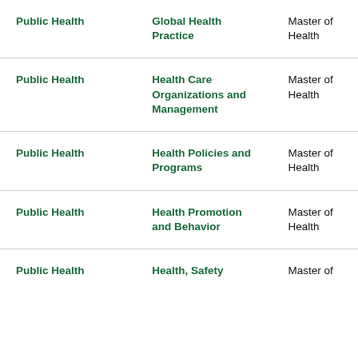| Department | Program/Concentration | Degree |
| --- | --- | --- |
| Public Health | Global Health Practice | Master of Health |
| Public Health | Health Care Organizations and Management | Master of Health |
| Public Health | Health Policies and Programs | Master of Health |
| Public Health | Health Promotion and Behavior | Master of Health |
| Public Health | Health, Safety | Master of |